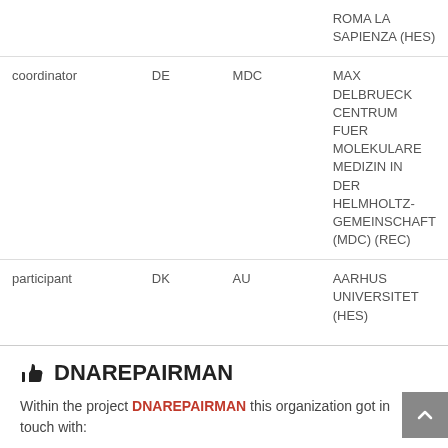| Role | Country | Short | Name |
| --- | --- | --- | --- |
|  |  |  | ROMA LA SAPIENZA (HES) |
| coordinator | DE | MDC | MAX DELBRUECK CENTRUM FUER MOLEKULARE MEDIZIN IN DER HELMHOLTZ-GEMEINSCHAFT (MDC) (REC) |
| participant | DK | AU | AARHUS UNIVERSITET (HES) |
DNAREPAIRMAN
Within the project DNAREPAIRMAN this organization got in touch with: